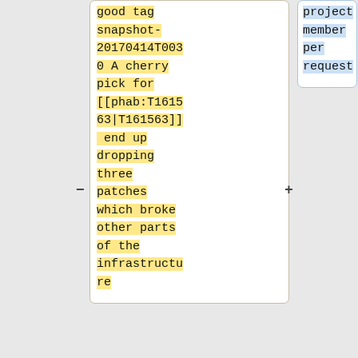good tag snapshot-20170414T0030 A cherry pick for [[phab:T161563|T161563]] end up dropping three patches which broke other parts of the infrastructure
project member per request
* 07:52 hashar_: Puppet failing on deployment-